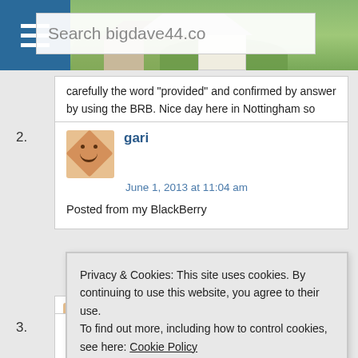Search bigdave44.co
carefully the word "provided" and confirmed by answer by using the BRB. Nice day here in Nottingham so must get on!
2. gari
June 1, 2013 at 11:04 am
Posted from my BlackBerry
Privacy & Cookies: This site uses cookies. By continuing to use this website, you agree to their use.
To find out more, including how to control cookies, see here: Cookie Policy
[Close and accept]
3. Brian
June 1, 2013 at 11:06 am